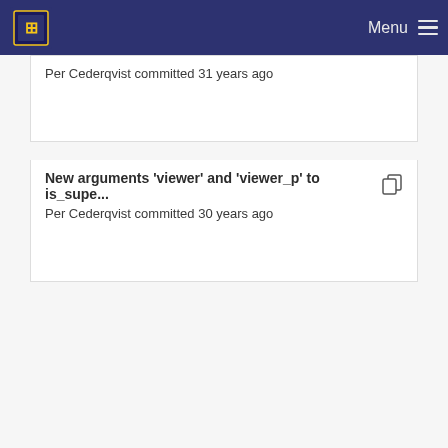Menu
Per Cederqvist committed 31 years ago
New arguments 'viewer' and 'viewer_p' to is_supe... Per Cederqvist committed 30 years ago